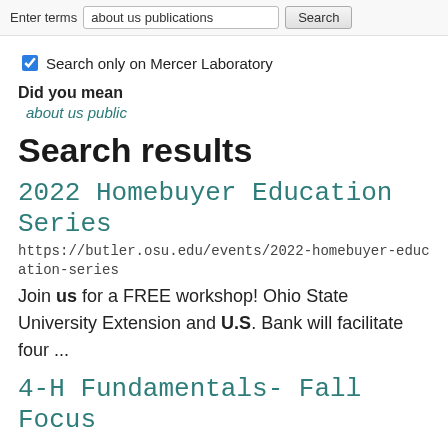Enter terms: about us publications [Search]
Search only on Mercer Laboratory
Did you mean
about us public
Search results
2022 Homebuyer Education Series
https://butler.osu.edu/events/2022-homebuyer-education-series
Join us for a FREE workshop! Ohio State University Extension and U.S. Bank will facilitate four ...
4-H Fundamentals- Fall Focus